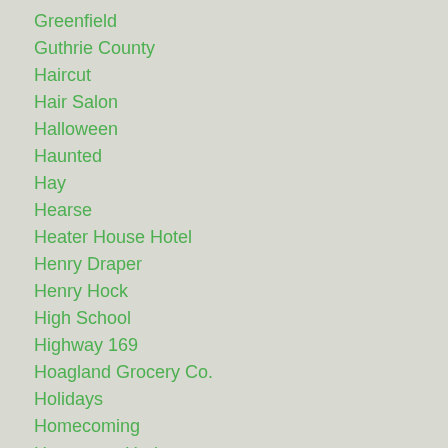Greenfield
Guthrie County
Haircut
Hair Salon
Halloween
Haunted
Hay
Hearse
Heater House Hotel
Henry Draper
Henry Hock
High School
Highway 169
Hoagland Grocery Co.
Holidays
Homecoming
Hometown Heritage
Horse
Horseshoes
Hose
Hotel